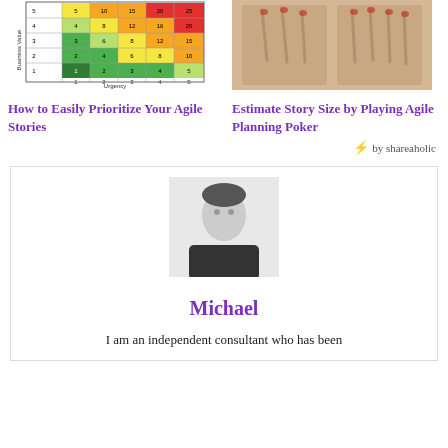[Figure (table-as-image): Priority matrix grid showing Business Value vs Urgency axes, color-coded cells (red, orange, yellow, green) with numeric values]
[Figure (photo): Two hands showing fingers - 3 fingers and 4 fingers - used for agile planning poker estimation]
How to Easily Prioritize Your Agile Stories
Estimate Story Size by Playing Agile Planning Poker
⚡ by shareaholic
[Figure (photo): Black and white portrait photo of Michael, a man in a dark shirt with hand near chin]
Michael
I am an independent consultant who has been